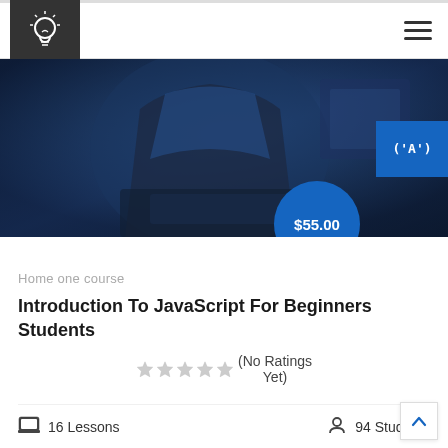[Figure (logo): Dark square logo with white lightbulb icon]
[Figure (photo): Hero banner showing a man in a blue shirt and dark vest working at a laptop in a dark environment]
[Figure (other): Blue rectangle badge with ('A') text, top-right of hero image]
$55.00
Home one course
Introduction To JavaScript For Beginners Students
(No Ratings Yet)
16 Lessons
94 Students